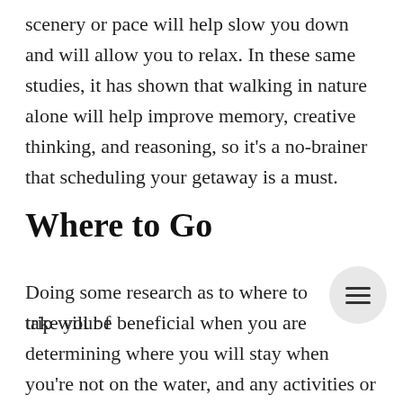scenery or pace will help slow you down and will allow you to relax. In these same studies, it has shown that walking in nature alone will help improve memory, creative thinking, and reasoning, so it's a no-brainer that scheduling your getaway is a must.
Where to Go
Doing some research as to where to take your f… trip will be beneficial when you are determining where you will stay when you're not on the water, and any activities or sights you would like to see while you're